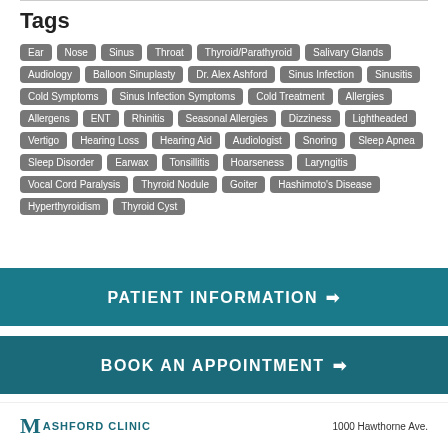Tags
Ear, Nose, Sinus, Throat, Thyroid/Parathyroid, Salivary Glands, Audiology, Balloon Sinuplasty, Dr. Alex Ashford, Sinus Infection, Sinusitis, Cold Symptoms, Sinus Infection Symptoms, Cold Treatment, Allergies, Allergens, ENT, Rhinitis, Seasonal Allergies, Dizziness, Lightheaded, Vertigo, Hearing Loss, Hearing Aid, Audiologist, Snoring, Sleep Apnea, Sleep Disorder, Earwax, Tonsillitis, Hoarseness, Laryngitis, Vocal Cord Paralysis, Thyroid Nodule, Goiter, Hashimoto's Disease, Hyperthyroidism, Thyroid Cyst
PATIENT INFORMATION →
BOOK AN APPOINTMENT →
ASHFORD CLINIC   1000 Hawthorne Ave.